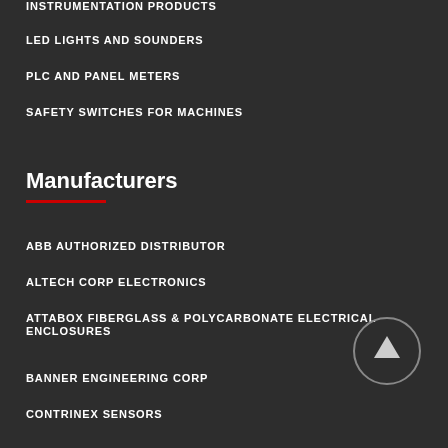INSTRUMENTATION PRODUCTS
LED LIGHTS AND SOUNDERS
PLC AND PANEL METERS
SAFETY SWITCHES FOR MACHINES
Manufacturers
ABB AUTHORIZED DISTRIBUTOR
ALTECH CORP ELECTRONICS
ATTABOX FIBERGLASS & POLYCARBONATE ELECTRICAL ENCLOSURES
BANNER ENGINEERING CORP
CONTRINEX SENSORS